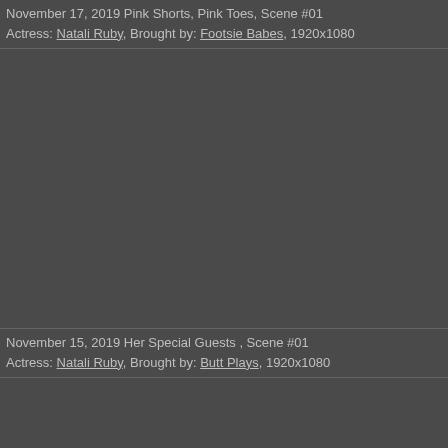November 17, 2019 Pink Shorts, Pink Toes, Scene #01
Actress: Natali Ruby, Brought by: Footsie Babes, 1920x1080
[Figure (photo): Dark gray background area representing a video thumbnail placeholder]
November 15, 2019 Her Special Guests , Scene #01
Actress: Natali Ruby, Brought by: Butt Plays, 1920x1080
[Figure (photo): Dark gray background area representing a second video thumbnail placeholder]